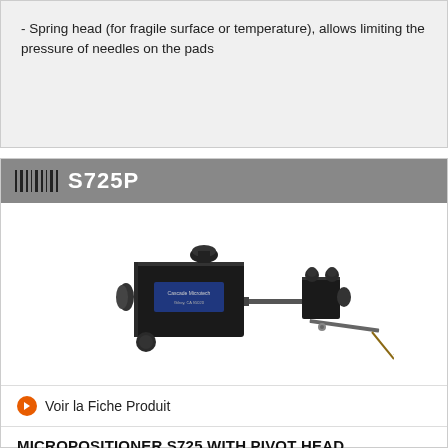- Spring head (for fragile surface or temperature), allows limiting the pressure of needles on the pads
S725P
[Figure (photo): Photo of the S725P micropositioner with pivot head assembly, showing a black metal positioning instrument with knobs and a probe needle extending to the right.]
Voir la Fiche Produit
MICROPOSITIONER S725 WITH PIVOT HEAD
This economic micropositioner will allow landing on pads or lines down to 20 µm.
- Pivot head (quick Z down before fine adjust, ideal for probe